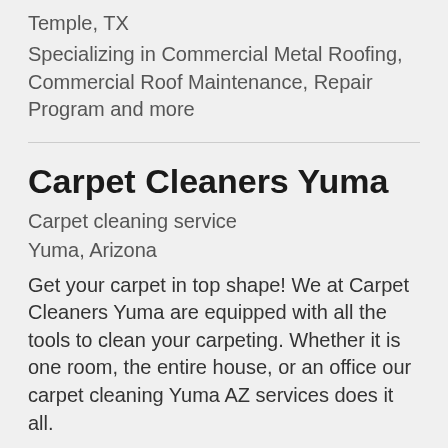Temple, TX
Specializing in Commercial Metal Roofing, Commercial Roof Maintenance, Repair Program and more
Carpet Cleaners Yuma
Carpet cleaning service
Yuma, Arizona
Get your carpet in top shape! We at Carpet Cleaners Yuma are equipped with all the tools to clean your carpeting. Whether it is one room, the entire house, or an office our carpet cleaning Yuma AZ services does it all.